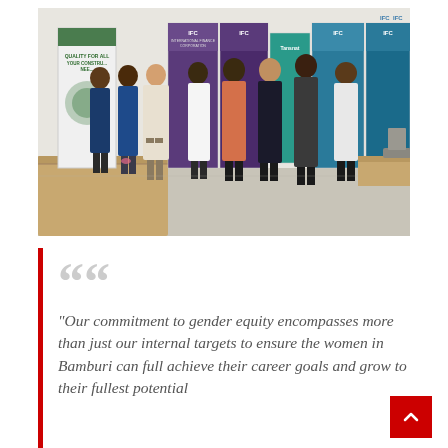[Figure (photo): Group photo of approximately 8 people standing in a conference room in front of IFC branded banners and a 'Quality for All Your Construction Needs' banner. Both men and women are present, dressed in business and business casual attire.]
“Our commitment to gender equity encompasses more than just our internal targets to ensure the women in Bamburi can full achieve their career goals and grow to their fullest potential